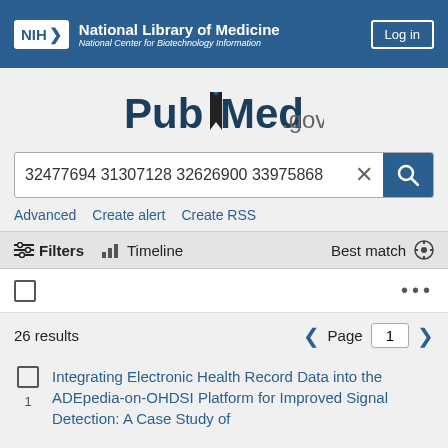NIH National Library of Medicine National Center for Biotechnology Information | Log in
[Figure (logo): PubMed.gov logo with open book icon]
32477694 31307128 32626900 33975868
Advanced   Create alert   Create RSS
Filters   Timeline   Best match
26 results   Page 1
Integrating Electronic Health Record Data into the ADEpedia-on-OHDSI Platform for Improved Signal Detection: A Case Study of